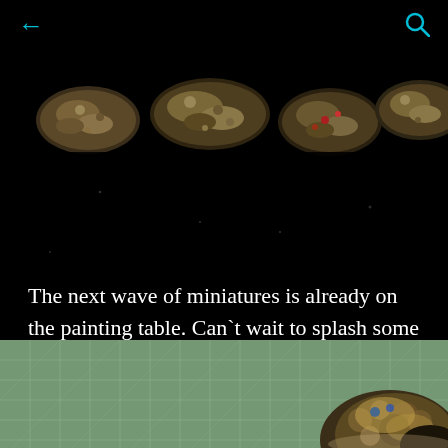← (back) and search icon
[Figure (photo): Four miniature bases photographed against a black background, showing painted terrain/bases with rocky, sandy textures and some red detail. The bases appear from above, lit against dark background.]
The next wave of miniatures is already on the painting table. Can`t wait to splash some paint on them!
[Figure (photo): Close-up photo of a miniature figure on a green cutting mat with grid lines. The miniature appears to be a large creature with patterned/armored body, partially visible at the bottom right of the frame.]